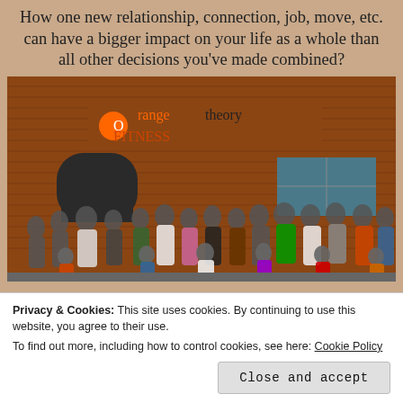How one new relationship, connection, job, move, etc. can have a bigger impact on your life as a whole than all other decisions you've made combined?
[Figure (photo): Group photo of fitness class members posing in front of an Orangetheory Fitness brick building exterior. Large group of people in workout clothes standing and kneeling in front of the storefront.]
Privacy & Cookies: This site uses cookies. By continuing to use this website, you agree to their use.
To find out more, including how to control cookies, see here: Cookie Policy
Close and accept